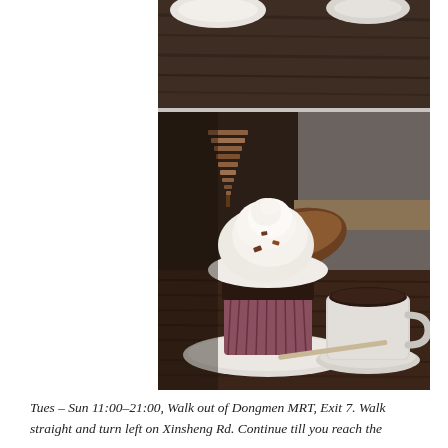[Figure (photo): Two photos of a cafe: top photo shows white ceramic cups/bowls on a dark wooden table; bottom photo shows a chocolate cupcake with white cream swirl frosting on a white plate next to a white ceramic mug of coffee on a saucer, with a decorative wooden stacked tree ornament in the background, all on a dark wooden table.]
Tues – Sun 11:00–21:00, Walk out of Dongmen MRT, Exit 7. Walk straight and turn left on Xinsheng Rd. Continue till you reach the ...